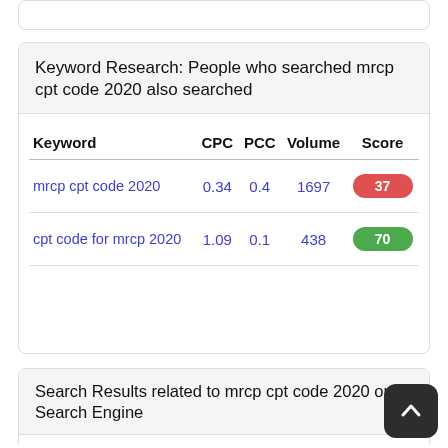Keyword Research: People who searched mrcp cpt code 2020 also searched
| Keyword | CPC | PCC | Volume | Score |
| --- | --- | --- | --- | --- |
| mrcp cpt code 2020 | 0.34 | 0.4 | 1697 | 37 |
| cpt code for mrcp 2020 | 1.09 | 0.1 | 438 | 70 |
Search Results related to mrcp cpt code 2020 on Search Engine
HX Medical Abbreviation Meaning - All Acro...